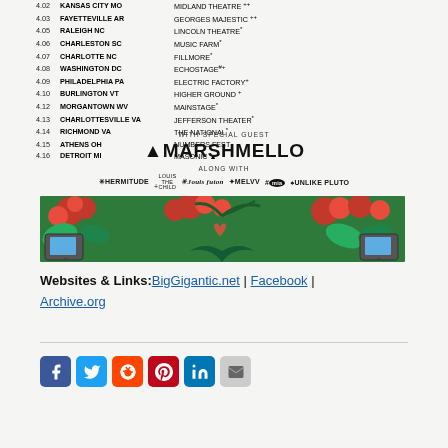4.02 KANSAS CITY MO — MIDLAND THEATRE ++
4.03 FAYETTEVILLE AR — GEORGES MAJESTIC ++
4.05 RALEIGH NC — LINCOLN THEATRE *
4.06 CHARLESTON SC — MUSIC FARM *
4.07 CHARLOTTE NC — FILLMORE *
4.08 WASHINGTON DC — ECHOSTAGE #+
4.09 PHILADELPHIA PA — ELECTRIC FACTORY +
4.10 BURLINGTON VT — HIGHER GROUND +
4.12 MORGANTOWN WV — MAINSTAGE *
4.13 CHARLOTTESVILLE VA — JEFFERSON THEATER *
4.14 RICHMOND VA — THE NATIONAL *
4.15 ATHENS OH — NUMBERS FEST
4.16 DETROIT MI — MASONIC ▲+
WITH SPECIAL GUEST
▲MARSHMELLO
ALONG WITH
*HERMITUDE +LOUIS THE CHILD *LOUIS FUTON *MELVV #MIA ♠UNLIKE PLUTO
[Figure (illustration): Decorative banner with tropical flowers, red blossoms, palm fronds, and vintage television sets on green background]
Websites & Links: BigGigantic.net | Facebook | Archive.org
[Figure (infographic): Social media share icons: Facebook, Twitter, Reddit, Pinterest, LinkedIn, Email]